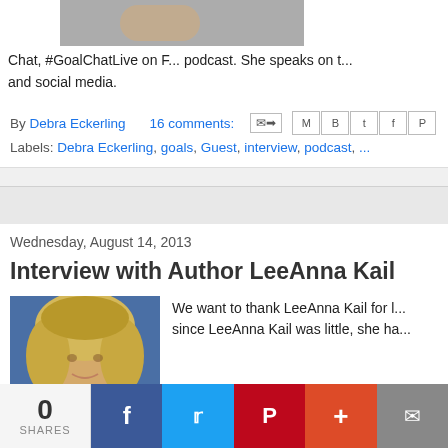[Figure (photo): Cropped image of a person at the top of the page]
Chat, #GoalChatLive on F... podcast. She speaks on t... and social media.
By Debra Eckerling   16 comments:
Labels: Debra Eckerling, goals, Guest, interview, podcast, ...
Wednesday, August 14, 2013
Interview with Author LeeAnna Kail
[Figure (photo): Headshot of LeeAnna Kail, a blonde woman against a blue background]
We want to thank LeeAnna Kail for l... since LeeAnna Kail was little, she ha...
0 SHARES